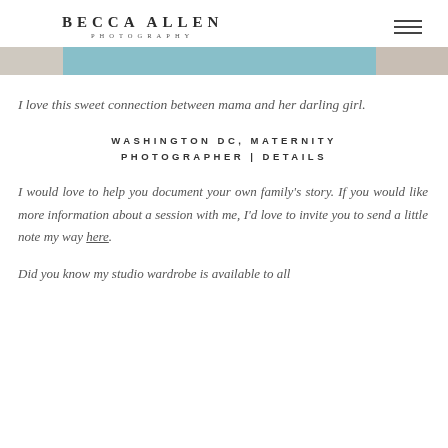BECCA ALLEN PHOTOGRAPHY
[Figure (photo): Partial image strip showing a maternity photo — muted tones of beige, teal/blue fabric, and light background]
I love this sweet connection between mama and her darling girl.
WASHINGTON DC, MATERNITY PHOTOGRAPHER | DETAILS
I would love to help you document your own family’s story. If you would like more information about a session with me, I’d love to invite you to send a little note my way here.
Did you know my studio wardrobe is available to all